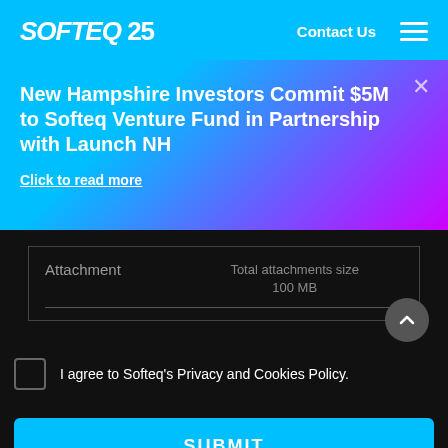SOFTEQ 25  Contact Us  [hamburger menu]
New Hampshire Investors Commit $5M to Softeq Venture Fund in Partnership with Launch NH
Click to read more
Attachment   Total attachments size 100 MB
I agree to Softeq's Privacy and Cookies Policy.
SUBMIT